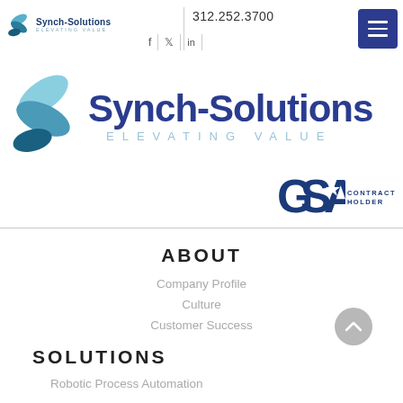[Figure (logo): Synch-Solutions logo (small, in header) with swirl icon and tagline 'Elevating Value']
312.252.3700
[Figure (logo): Social media icons: Facebook, Twitter, LinkedIn with vertical separators]
[Figure (logo): Hamburger menu button (dark blue/navy square with three horizontal white lines)]
[Figure (logo): Large Synch-Solutions logo with swirl icon and tagline 'Elevating Value']
[Figure (logo): GSA CONTRACT HOLDER badge with star logo]
ABOUT
Company Profile
Culture
Customer Success
SOLUTIONS
Robotic Process Automation